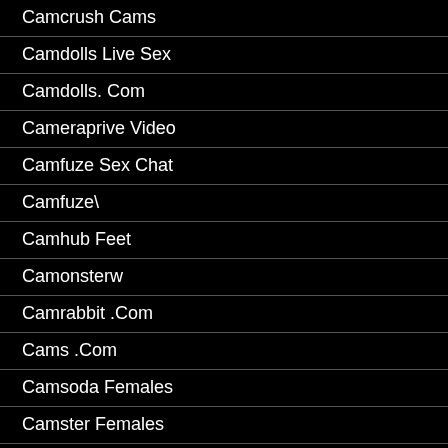Camcrush Cams
Camdolls Live Sex
Camdolls. Com
Cameraprive Video
Camfuze Sex Chat
Camfuze\
Camhub Feet
Camonsterw
Camrabbit .Com
Cams .Com
Camsoda Females
Camster Females
Camwithher Cim